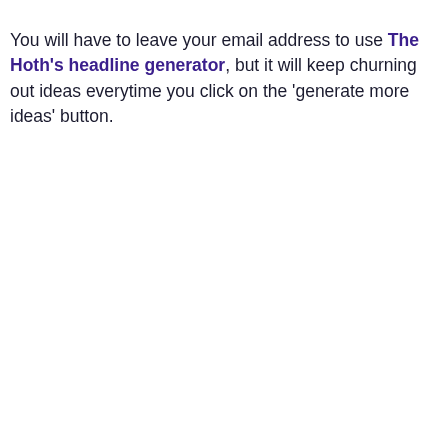You will have to leave your email address to use The Hoth's headline generator, but it will keep churning out ideas everytime you click on the 'generate more ideas' button.